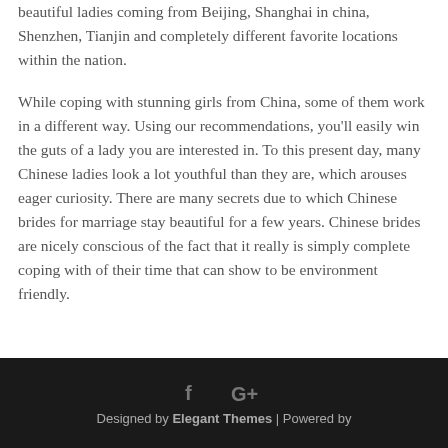beautiful ladies coming from Beijing, Shanghai in china, Shenzhen, Tianjin and completely different favorite locations within the nation.
While coping with stunning girls from China, some of them work in a different way. Using our recommendations, you'll easily win the guts of a lady you are interested in. To this present day, many Chinese ladies look a lot youthful than they are, which arouses eager curiosity. There are many secrets due to which Chinese brides for marriage stay beautiful for a few years. Chinese brides are nicely conscious of the fact that it really is simply complete coping with of their time that can show to be environment friendly.
Designed by Elegant Themes | Powered by